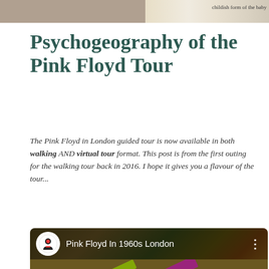[Figure (photo): Top portion of a scanned document page showing a sketch/illustration on the left and text on the right reading 'childish form of the baby']
Psychogeography of the Pink Floyd Tour
The Pink Floyd in London guided tour is now available in both walking AND virtual tour format. This post is from the first outing for the walking tour back in 2016. I hope it gives you a flavour of the tour...
[Figure (screenshot): YouTube video embed thumbnail titled 'Pink Floyd In 1960s London' from London Music Tours channel, with colorful psychedelic background and YouTube play button, bottom text reads 'pink floyd ... 0s london']